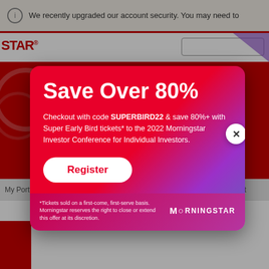We recently upgraded our account security. You may need to
[Figure (screenshot): Morningstar website header with red accent bar and search box]
Save Over 80%
Checkout with code SUPERBIRD22 & save 80%+ with Super Early Bird tickets* to the 2022 Morningstar Investor Conference for Individual Investors.
Register
*Tickets sold on a first-come, first-serve basis. Morningstar reserves the right to close or extend this offer at its discretion.
[Figure (logo): Morningstar logo in white text]
News
Global Market Report - 9 October